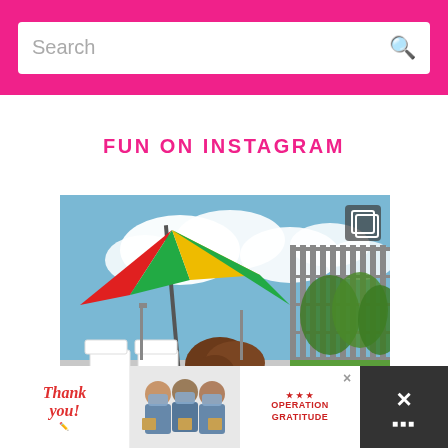[Figure (screenshot): Pink search bar section with white search input box containing the placeholder text 'Search' and a search icon on the right]
FUN ON INSTAGRAM
[Figure (photo): Instagram photo of a person at a water park area beneath a colorful (red, green, yellow) umbrella shade, with white lounge chairs, blue sky with clouds, a chain-link fence, and green trees in the background. An Instagram multi-image icon appears in the top-right corner.]
[Figure (screenshot): Advertisement banner at bottom: 'Thank you!' text with a pencil illustration on the left, people wearing masks and holding items in the middle, 'Operation Gratitude' logo on the right, with a close button (X) and additional controls on the far right dark area]